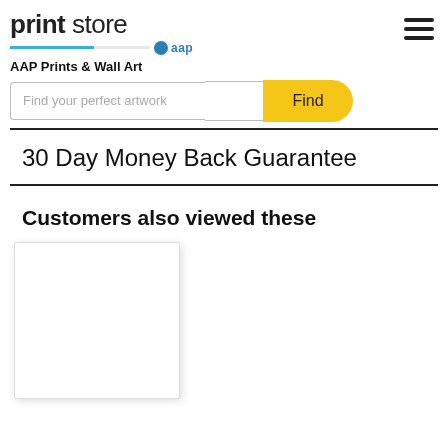print store aap — AAP Prints & Wall Art
Find your perfect artwork
Find
30 Day Money Back Guarantee
Customers also viewed these
[Figure (other): Product image card placeholder (white box with shadow)]